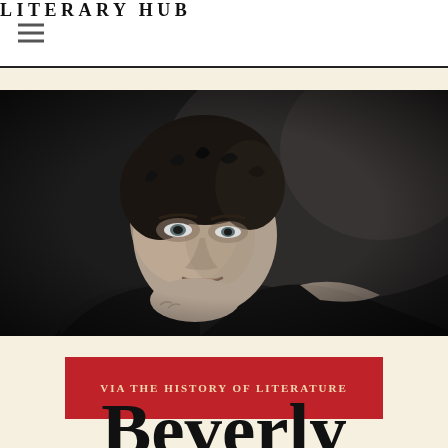LITERARY HUB
[Figure (photo): Black and white portrait photograph of a woman with dark curly hair, resting her chin on her hand, looking thoughtfully to the side.]
VIA THE HISTORY OF LITERATURE
Beverly